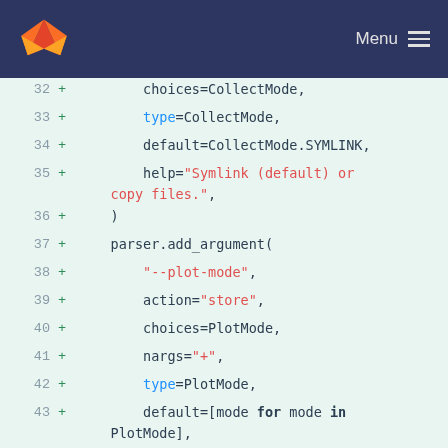GitLab menu header
[Figure (screenshot): Code diff view showing Python code lines 32-47 with additions marked by + signs, on a mint-green background. Code includes argument parser calls with choices, type, default, help parameters for collect-mode and plot-mode arguments.]